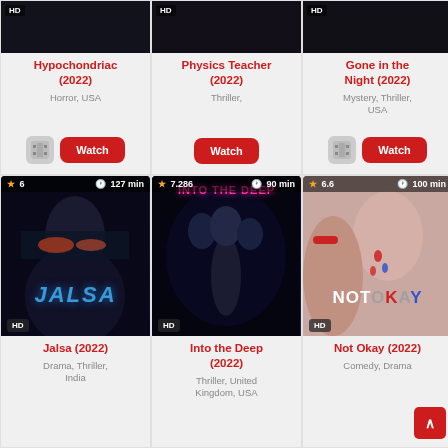[Figure (screenshot): Top row of movie cards: Hypochondriac (2022), Physics Teacher (2022), Gone in the Night (2022) with Watch buttons]
Hypochondriac (2022)
Horror, USA
Watch
Physics Teacher (2022)
Thriller,
Watch
Gone in the Night (2022)
Mystery, Thriller, USA
Watch
[Figure (photo): Jalsa (2022) movie poster - dark thriller, woman with tape, rating 6, 127 min, HD]
★ 6   🕐 127 min
Jalsa (2022)
Drama, Thriller, India
[Figure (photo): Into the Deep (2022) movie poster - thriller, three people, rating 7.286, 90 min, HD]
★ 7.286   🕐 90 min
Into the Deep (2022)
Thriller, United Kingdom, USA
[Figure (photo): Not Okay (2022) movie poster - comedy drama, woman with teardrops, rating 6.6, 100 min, HD]
★ 6.6   🕐 100 min
Not Okay (2022)
Comedy, Drama